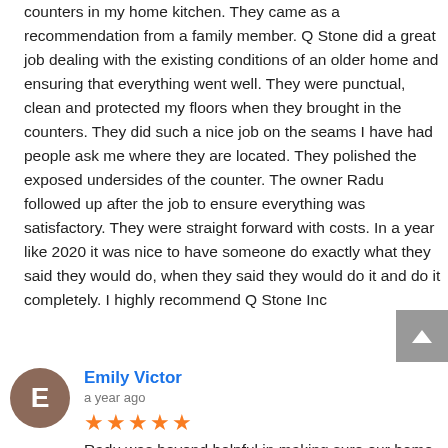counters in my home kitchen. They came as a recommendation from a family member. Q Stone did a great job dealing with the existing conditions of an older home and ensuring that everything went well. They were punctual, clean and protected my floors when they brought in the counters. They did such a nice job on the seams I have had people ask me where they are located. They polished the exposed undersides of the counter. The owner Radu followed up after the job to ensure everything was satisfactory. They were straight forward with costs. In a year like 2020 it was nice to have someone do exactly what they said they would do, when they said they would do it and do it completely. I highly recommend Q Stone Inc
Emily Victor
a year ago
Radu was beyond helpful in making sure our home had beautiful countertops! He was professional, clean, and got the work done in a timely manner. He made sure to be on time